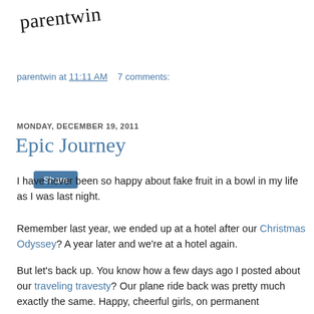parentwin
parentwin at 11:11 AM    7 comments:
Share
MONDAY, DECEMBER 19, 2011
Epic Journey
I have never been so happy about fake fruit in a bowl in my life as I was last night.
Remember last year, we ended up at a hotel after our Christmas Odyssey? A year later and we're at a hotel again.
But let's back up. You know how a few days ago I posted about our traveling travesty? Our plane ride back was pretty much exactly the same. Happy, cheerful girls, on permanent